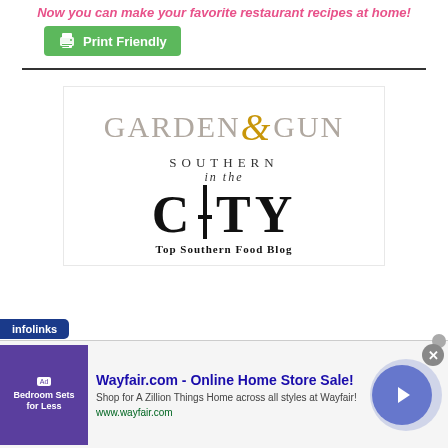Now you can make your favorite restaurant recipes at home!
[Figure (other): Green Print Friendly button with printer icon]
[Figure (logo): Garden & Gun magazine logo with 'Southern in the City - Top Southern Food Blog' text]
[Figure (other): Infolinks advertisement banner for Wayfair.com - Online Home Store Sale with image, description and arrow button]